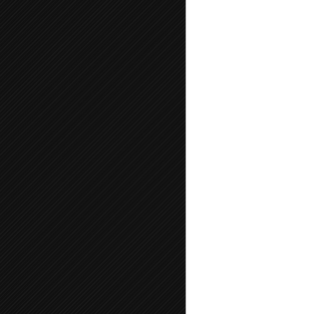[Figure (photo): Cropped image, partially visible at top right, appears to be a dark/grey screenshot or scene]
Kate Argent wakes up in a car, s every time). There's a cassette  and hears a history of the Hale
Outside the car, Kate and her be a copy of the list) and she wants Unfortunately, none of them kno tiresome that people only whine (kind of like trying to get any he not-quite-dead assassins tells h
Another assassin shoots Kate m but completely loses control ano
To the school! The fallout of last is missing and wanted by the po to be a better father" moment ra Amusingly, Rafe thinks he need Melissa doesn't live at the hospi the LIST OF DEATH.